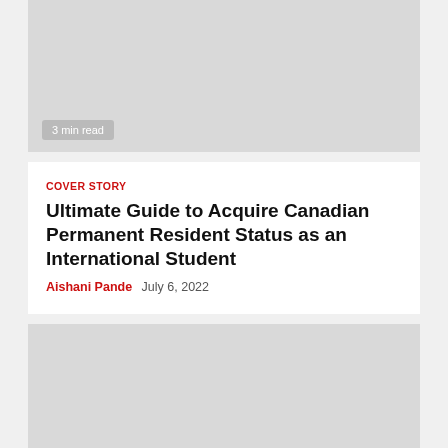[Figure (photo): Gray placeholder image block with '3 min read' badge at bottom left]
COVER STORY
Ultimate Guide to Acquire Canadian Permanent Resident Status as an International Student
Aishani Pande  July 6, 2022
[Figure (photo): Gray placeholder image block with '3 min read' badge at bottom left]
JOBS